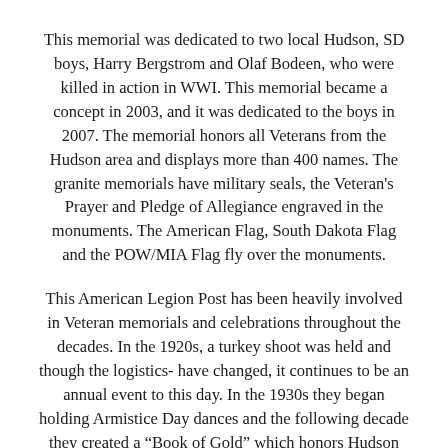This memorial was dedicated to two local Hudson, SD boys, Harry Bergstrom and Olaf Bodeen, who were killed in action in WWI. This memorial became a concept in 2003, and it was dedicated to the boys in 2007. The memorial honors all Veterans from the Hudson area and displays more than 400 names. The granite memorials have military seals, the Veteran's Prayer and Pledge of Allegiance engraved in the monuments. The American Flag, South Dakota Flag and the POW/MIA Flag fly over the monuments.
This American Legion Post has been heavily involved in Veteran memorials and celebrations throughout the decades. In the 1920s, a turkey shoot was held and though the logistics- have changed, it continues to be an annual event to this day. In the 1930s they began holding Armistice Day dances and the following decade they created a “Book of Gold” which honors Hudson WWII Veterans. This Post continues most of its’ traditional events and